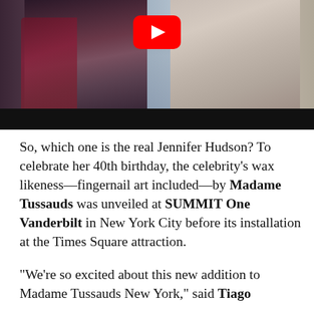[Figure (screenshot): YouTube video thumbnail showing two women standing side by side against a city skyline background. The left figure wears a dark outfit with a burgundy jacket. The right figure wears a light grey wrap dress. A YouTube play button (red with white triangle) is centered at the top of the image. A black bar runs across the bottom of the video frame.]
So, which one is the real Jennifer Hudson? To celebrate her 40th birthday, the celebrity's wax likeness—fingernail art included—by Madame Tussauds was unveiled at SUMMIT One Vanderbilt in New York City before its installation at the Times Square attraction.
“We’re so excited about this new addition to Madame Tussauds New York,” said Tiago